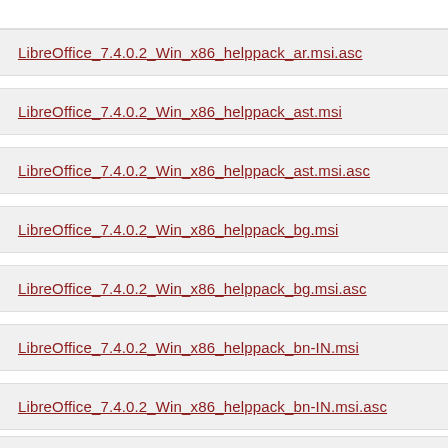LibreOffice_7.4.0.2_Win_x86_helppack_ar.msi.asc
LibreOffice_7.4.0.2_Win_x86_helppack_ast.msi
LibreOffice_7.4.0.2_Win_x86_helppack_ast.msi.asc
LibreOffice_7.4.0.2_Win_x86_helppack_bg.msi
LibreOffice_7.4.0.2_Win_x86_helppack_bg.msi.asc
LibreOffice_7.4.0.2_Win_x86_helppack_bn-IN.msi
LibreOffice_7.4.0.2_Win_x86_helppack_bn-IN.msi.asc